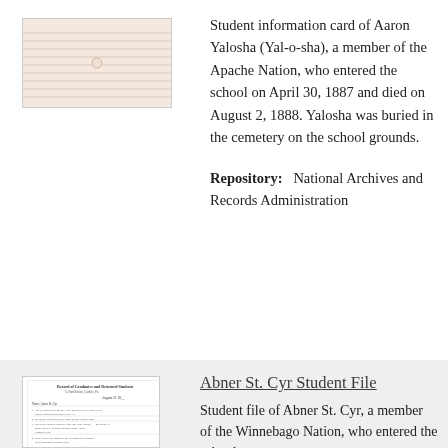[Figure (photo): Scanned student information card with horizontal lines and a hole punch in the center, pinkish/cream colored paper.]
Student information card of Aaron Yalosha (Yal-o-sha), a member of the Apache Nation, who entered the school on April 30, 1887 and died on August 2, 1888. Yalosha was buried in the cemetery on the school grounds.
Repository:   National Archives and Records Administration
[Figure (photo): Scanned document titled 'Record of Graduates and Returned Students' with handwritten entries, dated August 21.]
Abner St. Cyr Student File
Student file of Abner St. Cyr, a member of the Winnebago Nation, who entered the school